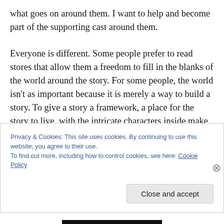what goes on around them. I want to help and become part of the supporting cast around them.

Everyone is different. Some people prefer to read stores that allow them a freedom to fill in the blanks of the world around the story. For some people, the world isn't as important because it is merely a way to build a story. To give a story a framework, a place for the story to live, with the intricate characters inside make a story whole. Each person approaches it differently. Some people will enjoy a story with a well established world, while others prefer
Privacy & Cookies: This site uses cookies. By continuing to use this website, you agree to their use.
To find out more, including how to control cookies, see here: Cookie Policy

Close and accept